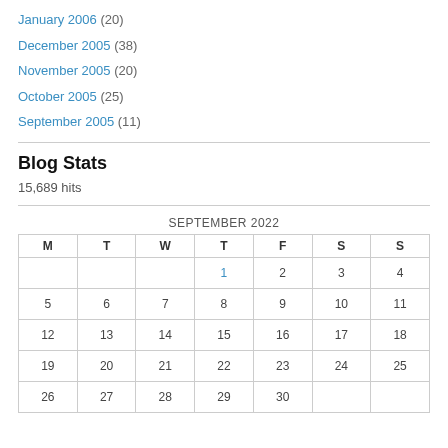January 2006 (20)
December 2005 (38)
November 2005 (20)
October 2005 (25)
September 2005 (11)
Blog Stats
15,689 hits
| M | T | W | T | F | S | S |
| --- | --- | --- | --- | --- | --- | --- |
|  |  |  | 1 | 2 | 3 | 4 |
| 5 | 6 | 7 | 8 | 9 | 10 | 11 |
| 12 | 13 | 14 | 15 | 16 | 17 | 18 |
| 19 | 20 | 21 | 22 | 23 | 24 | 25 |
| 26 | 27 | 28 | 29 | 30 |  |  |